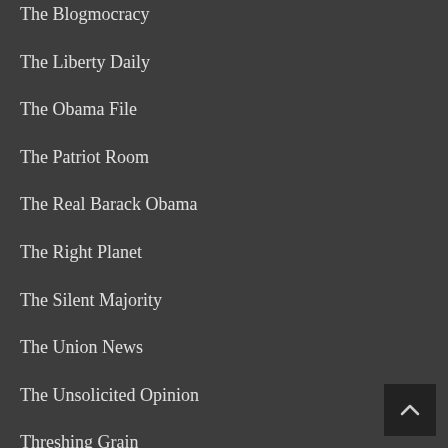The Blogmocracy
The Liberty Daily
The Obama File
The Patriot Room
The Real Barack Obama
The Right Planet
The Silent Majority
The Union News
The Unsolicited Opinion
Threshing Grain
Tomas Estrada Palma
Truth & Consequences